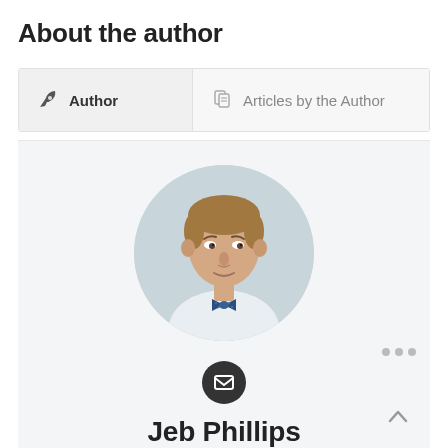About the author
[Figure (screenshot): Tab interface with two tabs: 'Author' (active, with feather quill icon) and 'Articles by the Author' (inactive, with document icon)]
[Figure (photo): Circular portrait photo of a man in a white shirt and blue bow tie against a light blue background]
[Figure (other): Dark circular email envelope icon button]
Jeb Phillips